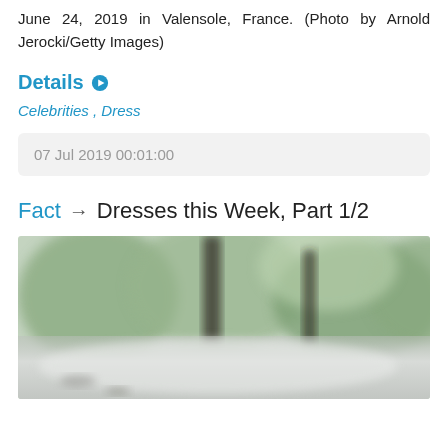June 24, 2019 in Valensole, France. (Photo by Arnold Jerocki/Getty Images)
Details
Celebrities , Dress
07 Jul 2019 00:01:00
Fact → Dresses this Week, Part 1/2
[Figure (photo): Blurred outdoor photo showing a white garment or fabric in the foreground with blurred green trees and dark vertical poles in the background.]